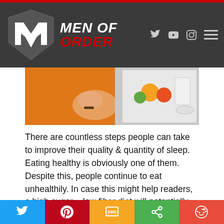MEN OF ORDER
[Figure (photo): Person in orange clothing touching their stomach near an open refrigerator with fruits and food visible]
There are countless steps people can take to improve their quality & quantity of sleep. Eating healthy is obviously one of them. Despite this, people continue to eat unhealthily. In case this might help readers, a high sugar – low fiber diet will potentially mess with your sleep significantly. People should also avoid going to bed hungry. Hungriness signals to the brain that you are going through a period of famine. This comes from hundreds of years of humans having to hunt & gather in order to eat, so it's still locked into our DNA. The brain focusing on